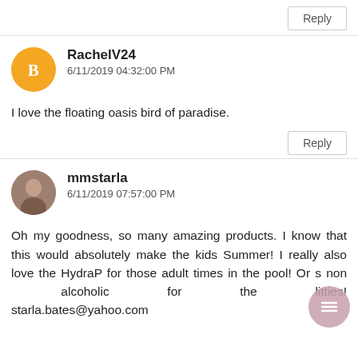Reply
RachelV24
6/11/2019 04:32:00 PM
I love the floating oasis bird of paradise.
Reply
mmstarla
6/11/2019 07:57:00 PM
Oh my goodness, so many amazing products. I know that this would absolutely make the kids Summer! I really also love the HydraP for those adult times in the pool! Or s non alcoholic for the litties! starla.bates@yahoo.com